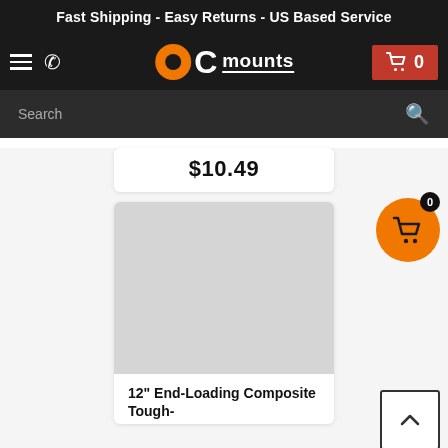Fast Shipping - Easy Returns - US Based Service
[Figure (logo): OC Mounts logo with orange circle, white C, and white mounts text]
$10.49
[Figure (photo): Product image placeholder (gray rectangle)]
12" End-Loading Composite Tough-